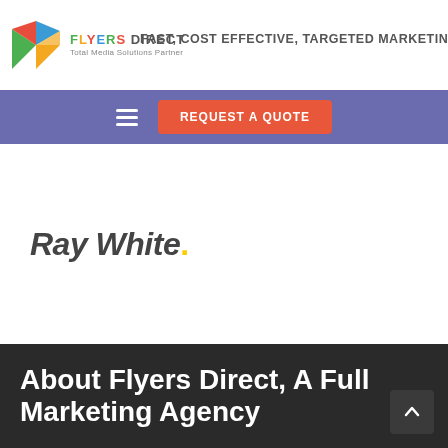[Figure (logo): Flyers Direct logo with colorful icon and text. Logo icon is a stylized paper airplane/envelope with red, green, yellow, blue colors. Text reads Flyers Direct with tagline 'Total Media Solutions Partner'. Header text: FAST, COST EFFECTIVE, TARGETED MARKETING S[OLUTIONS]]
[Figure (screenshot): Navigation bar with purple background containing hamburger menu icon and orange 'REQUEST A QUOTE' button]
[Figure (logo): Ray White. real estate logo in bold italic dark gray font]
About Flyers Direct, A Full Marketing Agency